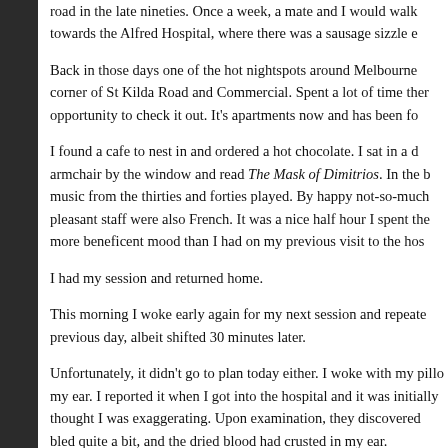road in the late nineties. Once a week, a mate and I would walk towards the Alfred Hospital, where there was a sausage sizzle e
Back in those days one of the hot nightspots around Melbourne corner of St Kilda Road and Commercial. Spent a lot of time ther opportunity to check it out. It's apartments now and has been fo
I found a cafe to nest in and ordered a hot chocolate. I sat in a d armchair by the window and read The Mask of Dimitrios. In the b music from the thirties and forties played. By happy not-so-much pleasant staff were also French. It was a nice half hour I spent the more beneficent mood than I had on my previous visit to the hos
I had my session and returned home.
This morning I woke early again for my next session and repeate previous day, albeit shifted 30 minutes later.
Unfortunately, it didn't go to plan today either. I woke with my pillo my ear. I reported it when I got into the hospital and it was initially thought I was exaggerating. Upon examination, they discovered bled quite a bit, and the dried blood had crusted in my ear.
There followed a couple of excruciating hours, literally so for a g specialists came and went, flushing out my ear initially and clean